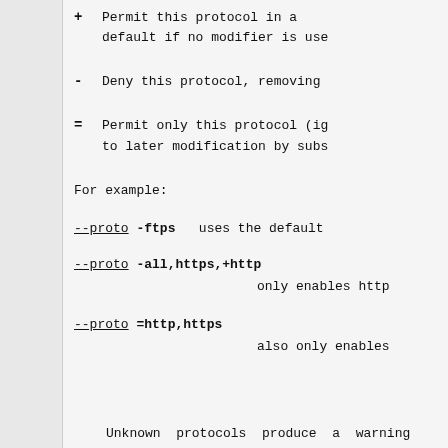+ Permit this protocol in a default if no modifier is use
- Deny this protocol, removing
= Permit only this protocol (ig to later modification by subs
For example:
--proto -ftps  uses the default
--proto -all,https,+http  only enables http
--proto =http,https  also only enables
Unknown protocols produce a warning